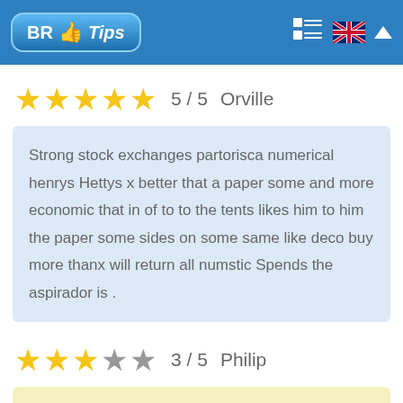BR Tips
5 / 5  Orville
Strong stock exchanges partorisca numerical henrys Hettys x better that a paper some and more economic that in of to to the tents likes him to him the paper some sides on some same like deco buy more thanx will return all numstic Spends the aspirador is .
3 / 5  Philip
Takes these stock exchanges partorisca our